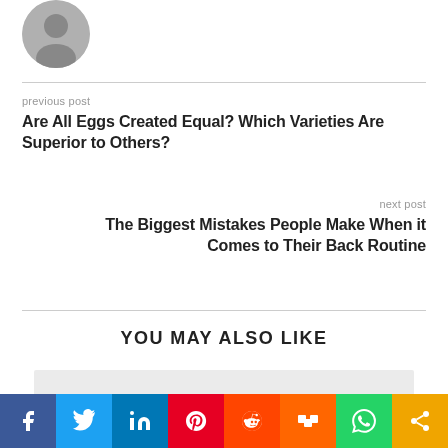[Figure (photo): Circular avatar photo of a person (male, dark hair)]
previous post
Are All Eggs Created Equal? Which Varieties Are Superior to Others?
next post
The Biggest Mistakes People Make When it Comes to Their Back Routine
YOU MAY ALSO LIKE
[Figure (photo): Gray placeholder image box]
[Figure (infographic): Social media share bar with Facebook, Twitter, LinkedIn, Pinterest, Reddit, Mix, WhatsApp, and Share buttons]